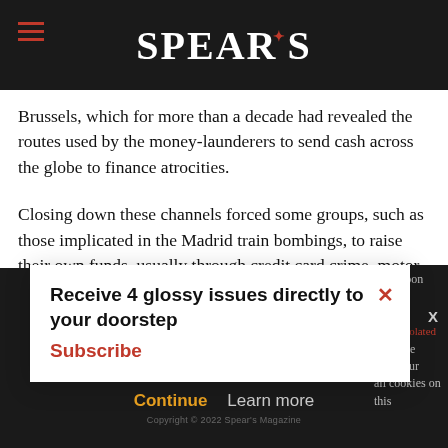SPEAR'S
Brussels, which for more than a decade had revealed the routes used by the money-launderers to send cash across the globe to finance atrocities.
Closing down these channels forced some groups, such as those implicated in the Madrid train bombings, to raise their own funds, usually through credit card crime, motor insurance fraud and drug-dealing. Their reliance on such crime made the groups more vulnerable to [po]lice methods.
Receive 4 glossy issues directly to your doorstep
Subscribe
Continue   Learn more